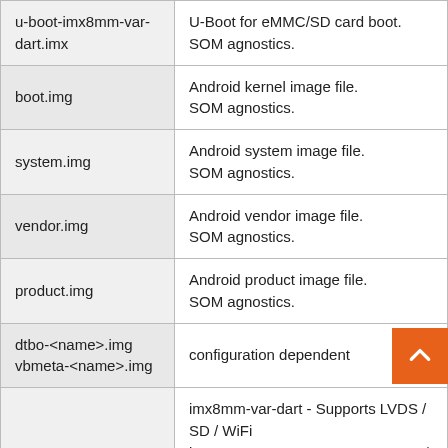| File | Description |
| --- | --- |
| u-boot-imx8mm-var-dart.imx | U-Boot for eMMC/SD card boot.
SOM agnostics. |
| boot.img | Android kernel image file.
SOM agnostics. |
| system.img | Android system image file.
SOM agnostics. |
| vendor.img | Android vendor image file.
SOM agnostics. |
| product.img | Android product image file.
SOM agnostics. |
| dtbo-<name>.img
vbmeta-<name>.img | configuration dependent |
|  | imx8mm-var-dart - Supports LVDS / SD / WiFi
imx8mm-var-som - Supports LVDS / SD |